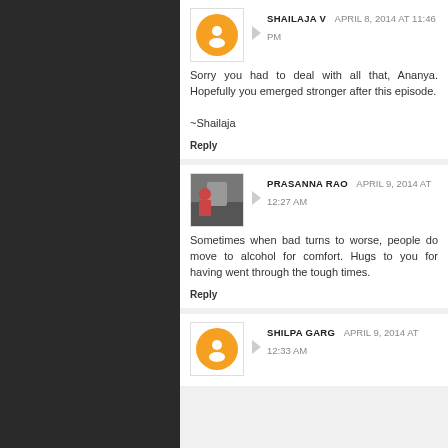[Figure (screenshot): Blog comment section screenshot with dark city background on left/right and white comment cards in center. Comment 1 by Shailaja V, April 8 2014 at 11:46 PM. Comment 2 by Prasanna Rao, April 9 2014 at 12:27 AM. Comment 3 partially visible by Shilpa Garg, April 9 2014 at 12:33 AM.]